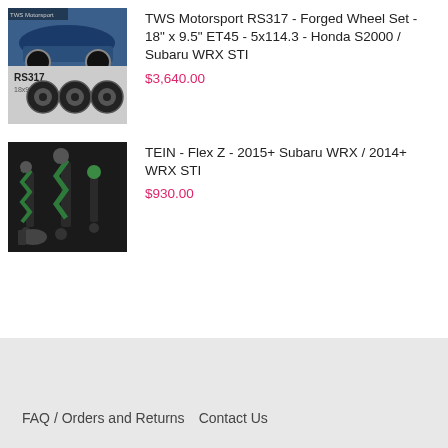[Figure (photo): TWS Motorsport RS317 forged wheel set product photos showing blue Subaru WRX STI car and black wheels]
TWS Motorsport RS317 - Forged Wheel Set - 18" x 9.5" ET45 - 5x114.3 - Honda S2000 / Subaru WRX STI
$3,640.00
[Figure (photo): TEIN Flex Z coilover suspension kit product photo showing green coilovers on dark background]
TEIN - Flex Z - 2015+ Subaru WRX / 2014+ WRX STI
$930.00
FAQ / Orders and Returns   Contact Us